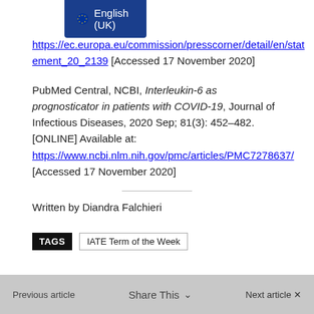[Figure (other): Language selector badge showing EU flag stars and 'English (UK)' text on dark blue background]
https://ec.europa.eu/commission/presscorner/detail/en/statement_20_2139 [Accessed 17 November 2020]
PubMed Central, NCBI, Interleukin-6 as prognosticator in patients with COVID-19, Journal of Infectious Diseases, 2020 Sep; 81(3): 452–482. [ONLINE] Available at: https://www.ncbi.nlm.nih.gov/pmc/articles/PMC7278637/ [Accessed 17 November 2020]
Written by Diandra Falchieri
TAGS   IATE Term of the Week
Previous article   Share This   Next article